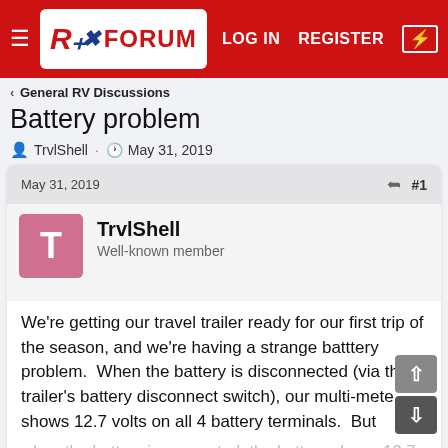RX FORUM — LOG IN  REGISTER
< General RV Discussions
Battery problem
TrvlShell · May 31, 2019
May 31, 2019   #1
TrvlShell
Well-known member
We're getting our travel trailer ready for our first trip of the season, and we're having a strange batttery problem.  When the battery is disconnected (via the trailer's battery disconnect switch), our multi-meter shows 12.7 volts on all 4 battery terminals.  But when the battery is connected, the battery shows 12.7 volts on 3 of the terminals but only 11.7 on the